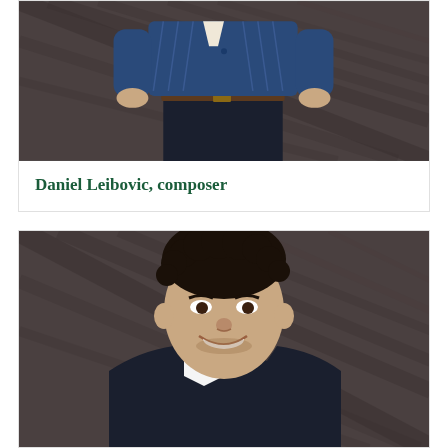[Figure (photo): Upper body/torso photo of a person wearing a dark blue patterned shirt, dark jeans, brown belt, hands in pockets, standing against a dark wood panel background]
Daniel Leibovic, composer
[Figure (photo): Headshot of a young man with curly dark hair, smiling, wearing a dark suit jacket and white shirt, against a dark wood panel background]